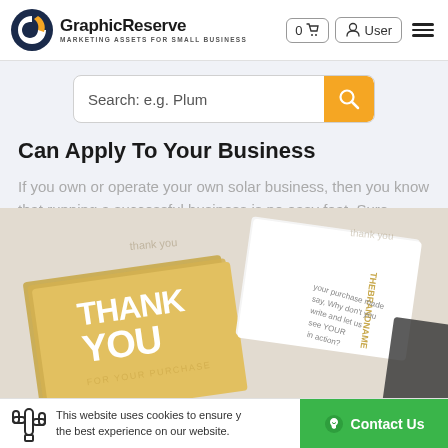[Figure (logo): GraphicReserve logo with circular G icon in dark blue and orange, text 'GraphicReserve' bold, subtitle 'MARKETING ASSETS FOR SMALL BUSINESS']
[Figure (screenshot): Navigation header with cart button showing '0', user button, and hamburger menu]
[Figure (screenshot): Search bar with placeholder 'Search: e.g. Plum' and orange search button]
Can Apply To Your Business
If you own or operate your own solar business, then you know that running a successful business is no easy feat. Sure, there are many
[Figure (photo): Product photo showing gold 'Thank You For Your Purchase' cards and white brand business cards on a light surface]
This website uses cookies to ensure you get the best experience on our website.
Contact Us